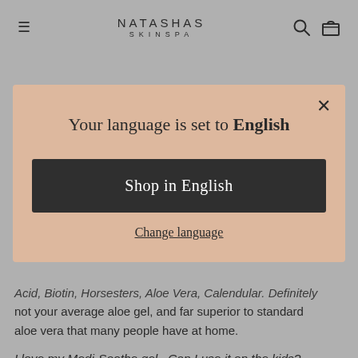NATASHAS SKINSPA
Your language is set to English
Shop in English
Change language
Acid, Biotin, Horsesters, Aloe Vera, Calendular. Definitely not your average aloe gel, and far superior to standard aloe vera that many people have at home.
I love my Medi-Soothe gel.  Can I use it on the kids?